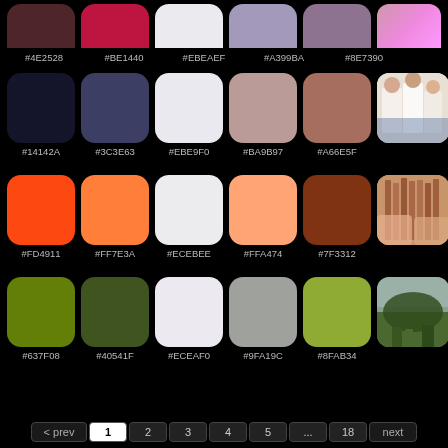[Figure (infographic): Color palette swatches with hex codes arranged in rows with reference photos. Row 1 (partial): #4E2528, #BE1440, #EBEAEF, #A399BA, #8E7390 + photo. Row 2: #14142A, #3C3E63, #EBE9F0, #BA9B97, #A66E5F + photo of people. Row 3: #FD4911, #FF7E3A, #ECEBEE, #FFA474, #7F3312 + photo of hands. Row 4: #637F08, #40541F, #ECEAF0, #9FA19C, #8FAB34 + photo of landscape.]
< prev 1 2 3 4 5 ... 18 next